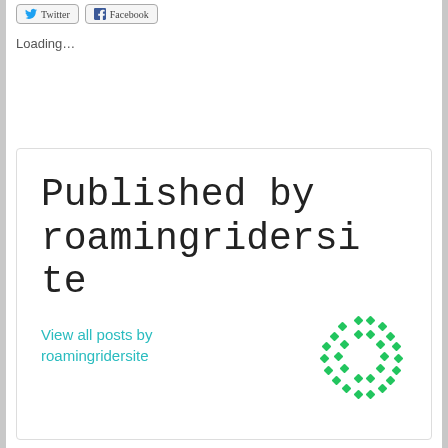[Figure (other): Twitter and Facebook share buttons]
Loading…
Published by roamingridersite
View all posts by roamingridersite
[Figure (logo): Green diamond pattern circular logo for roamingridersite]